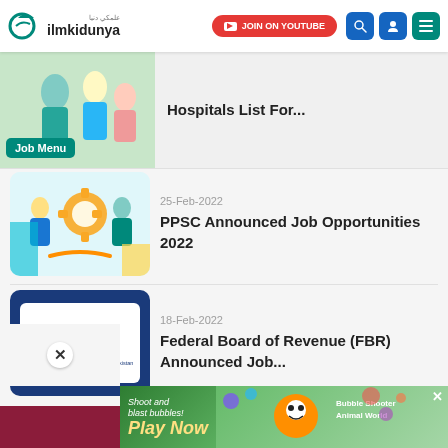ilmkidunya — JOIN ON YOUTUBE
[Figure (screenshot): Partial article card showing hospital image with Job Menu badge]
Hospitals List For...
25-Feb-2022
[Figure (illustration): PPSC job opportunities illustration with people and gears]
PPSC Announced Job Opportunities 2022
18-Feb-2022
[Figure (logo): Federal Board of Revenue (FBR) logo on blue card]
Federal Board of Revenue (FBR) Announced Job...
[Figure (infographic): Dark maroon promotional banner]
[Figure (infographic): Game advertisement: Shoot and blast bubbles! Play Now — Bubble Shooter Animal World]